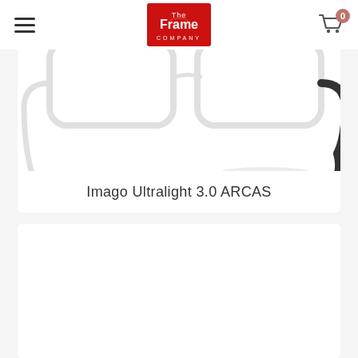[Figure (logo): The Frame Company logo — red rectangle with white text 'The Frame Company']
[Figure (photo): Close-up photo of eyeglasses frames — clear/white rectangular frames with dark temples, product photo on white background]
Imago Ultralight 3.0 ARCAS
[Figure (photo): Second product card — white background, partially visible, no image or text shown yet]